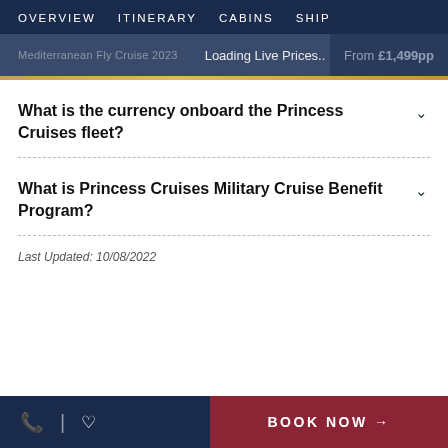OVERVIEW  ITINERARY  CABINS  SHIP
Loading Live Prices..  From £1,499pp
What is the currency onboard the Princess Cruises fleet?
What is Princess Cruises Military Cruise Benefit Program?
Last Updated: 10/08/2022
BOOK NOW →